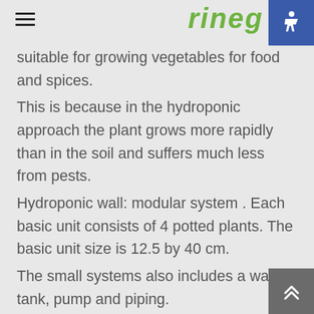≡  rineg
suitable for growing vegetables for food and spices.
This is because in the hydroponic approach the plant grows more rapidly than in the soil and suffers much less from pests.
Hydroponic wall: modular system . Each basic unit consists of 4 potted plants. The basic unit size is 12.5 by 40 cm.
The small systems also includes a water tank, pump and piping.
Installation: Each unit comes with dedicated mounting bars. The pump must be connected to an electrical point.